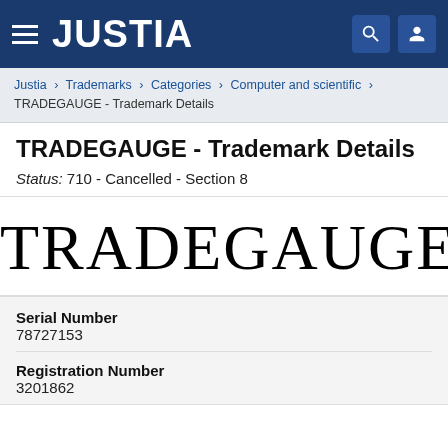JUSTIA
Justia > Trademarks > Categories > Computer and scientific > TRADEGAUGE - Trademark Details
TRADEGAUGE - Trademark Details
Status: 710 - Cancelled - Section 8
[Figure (other): TRADEGAUGE trademark wordmark in large serif font]
| Field | Value |
| --- | --- |
| Serial Number | 78727153 |
| Registration Number | 3201862 |